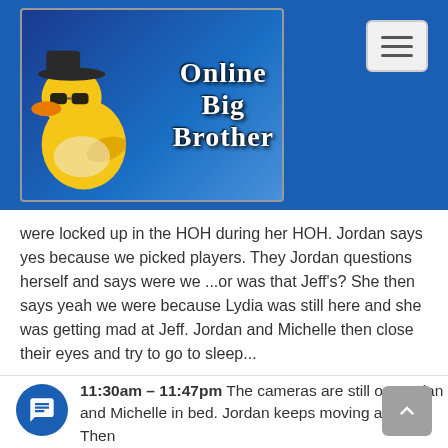[Figure (logo): Online Big Brother website logo with rubber duck wearing sunglasses and hat on blue background]
were locked up in the HOH during her HOH. Jordan says yes because we picked players. They Jordan questions herself and says were we ...or was that Jeff's? She then says yeah we were because Lydia was still here and she was getting mad at Jeff. Jordan and Michelle then close their eyes and try to go to sleep...
11:15am All four cameras are still on Jordan and Michelle in the pool room sleeping, every once in awhile they move around a bit ... thats all the action thats been happening today ...
263
11:30am – 11:47pm The cameras are still on Jordan and Michelle in bed. Jordan keeps moving around. Then